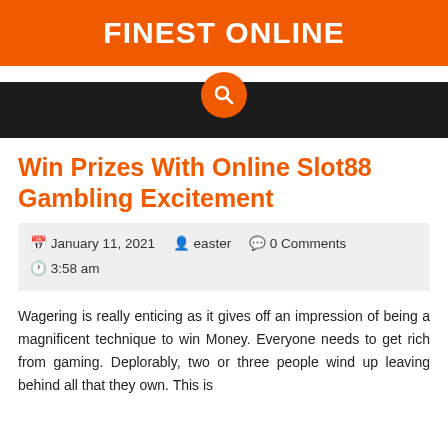FINEST ONLINE
[Figure (other): Dark navigation bar with an orange search button circle in the center]
Win Prizes With Online Slot88 Gambling Excitement
January 11, 2021   easter   0 Comments   3:58 am
Wagering is really enticing as it gives off an impression of being a magnificent technique to win Money. Everyone needs to get rich from gaming. Deplorably, two or three people wind up leaving behind all that they own. This is